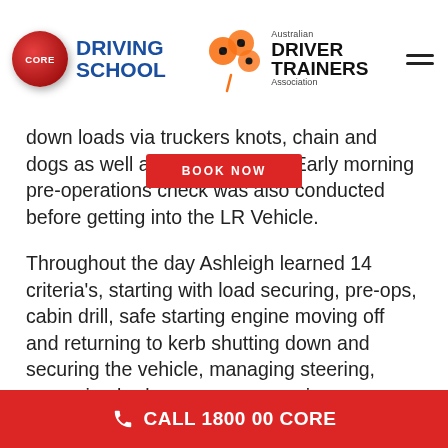CORE DRIVING SCHOOL | Australian Driver Trainers Association
down loads via truckers knots, chain and dogs as well as ratchet straps. Early morning pre-operations check was also conducted before getting into the LR Vehicle.
Throughout the day Ashleigh learned 14 criteria's, starting with load securing, pre-ops, cabin drill, safe starting engine moving off and returning to kerb shutting down and securing the vehicle, managing steering, managing brakes, gears, managing accelerator, defensive driving behaviours, road rules, reversing manoeuvres, hill stop/start, decent stop/start as well as the Bus stop arrival and departure.
CALL 1800 00 CORE